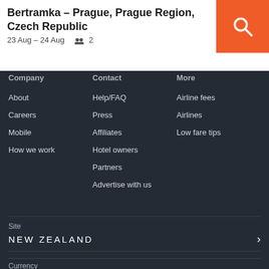Bertramka – Prague, Prague Region, Czech Republic
23 Aug – 24 Aug   2
Company
Contact
More
About
Careers
Mobile
How we work
Help/FAQ
Press
Affiliates
Hotel owners
Partners
Advertise with us
Airline fees
Airlines
Low fare tips
Site
NEW ZEALAND
Currency